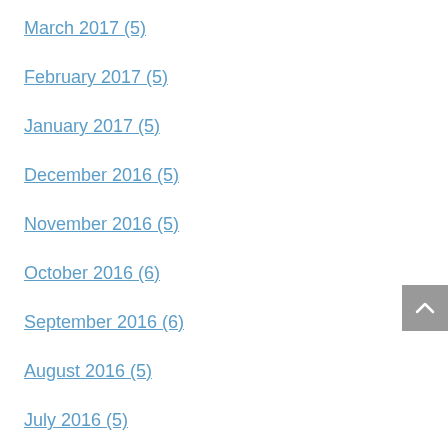March 2017 (5)
February 2017 (5)
January 2017 (5)
December 2016 (5)
November 2016 (5)
October 2016 (6)
September 2016 (6)
August 2016 (5)
July 2016 (5)
June 2016 (6)
May 2016 (4)